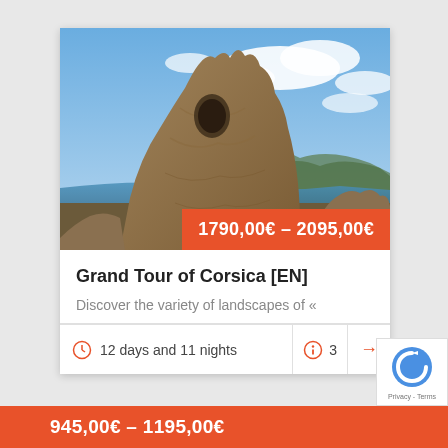[Figure (photo): Rocky formation resembling a face or figure against a blue sky with clouds and mountain/coastal landscape in background, Corsica]
1790,00€ – 2095,00€
Grand Tour of Corsica [EN]
Discover the variety of landscapes of «
12 days and 11 nights
3
945,00€ – 1195,00€